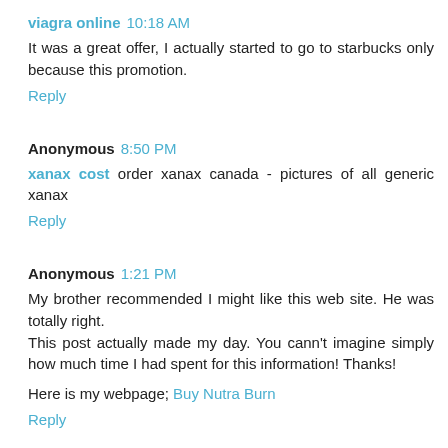viagra online  10:18 AM
It was a great offer, I actually started to go to starbucks only because this promotion.
Reply
Anonymous  8:50 PM
xanax cost order xanax canada - pictures of all generic xanax
Reply
Anonymous  1:21 PM
My brother recommended I might like this web site. He was totally right.
This post actually made my day. You cann't imagine simply how much time I had spent for this information! Thanks!
Here is my webpage; Buy Nutra Burn
Reply